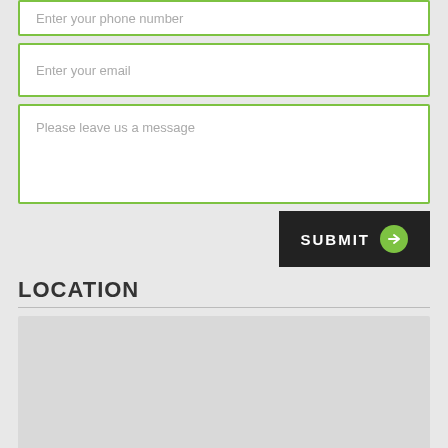Enter your phone number
Enter your email
Please leave us a message
SUBMIT
LOCATION
[Figure (map): Gray placeholder map area]
402 W Broadway Suite 1300
Los Angeles , CA. 92101